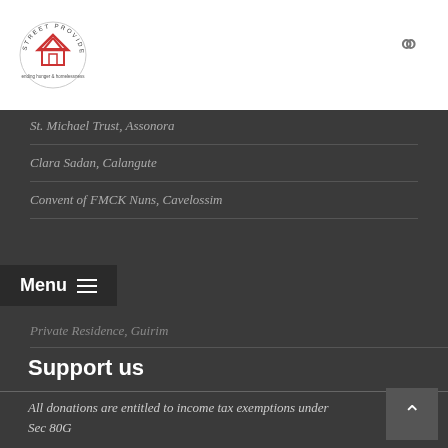[Figure (logo): Street Providence circular logo with house icon and red roof, tagline below]
St. Michael Trust, Assonora
Clara Sadan, Calangute
Convent of FMCK Nuns, Cavelossim
Private Residence, Guirim
Support us
All donations are entitled to income tax exemptions under
Sec 80G
We accept donations in
CASH / CHEQUE / NEFT